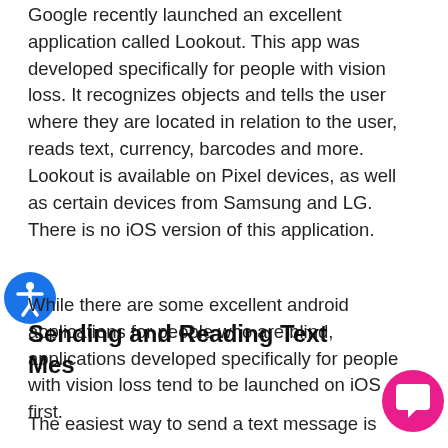Google recently launched an excellent application called Lookout.  This app was developed specifically for people with vision loss.  It recognizes objects and tells the user where they are located in relation to the user, reads text, currency, barcodes and more.  Lookout is available on Pixel devices, as well as certain devices from Samsung and LG.  There is no iOS version of this application.
While there are some excellent android applications for people who are blind, applications developed specifically for people with vision loss tend to be launched on iOS first.
Sending and Reading Text Mes
The easiest way to send a text message is